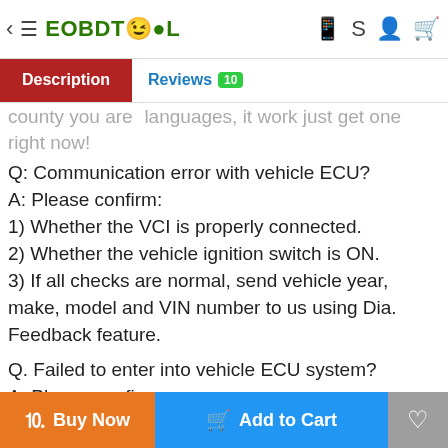EOBDTOOL — Description | Reviews 10
county you are ... just get one right now!
Q: Communication error with vehicle ECU?
A: Please confirm:
1) Whether the VCI is properly connected.
2) Whether the vehicle ignition switch is ON.
3) If all checks are normal, send vehicle year, make, model and VIN number to us using Dia. Feedback feature.
Q. Failed to enter into vehicle ECU system?
A: Please confirm:
1) Whether the vehicle is equipped with the system.
2) Whether the VCI is correctly connected.
3) Whether the vehicle ignition switch is ON.
4) If all checks are normal, send vehicle year, make, model
Buy Now | Add to Cart | (wishlist)